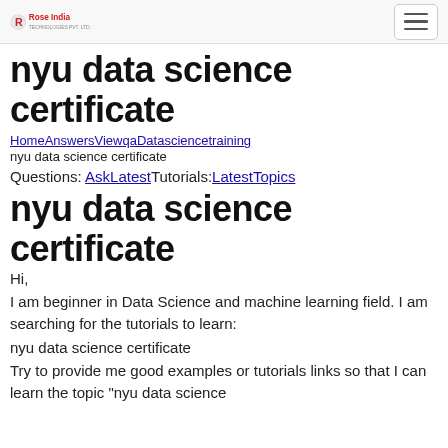Rose India [logo] [hamburger menu]
nyu data science certificate
HomeAnswersViewqaDatasciencetraining
nyu data science certificate
Questions: AskLatestTutorials:LatestTopics
nyu data science certificate
Hi,
I am beginner in Data Science and machine learning field. I am searching for the tutorials to learn:
nyu data science certificate
Try to provide me good examples or tutorials links so that I can learn the topic "nyu data science